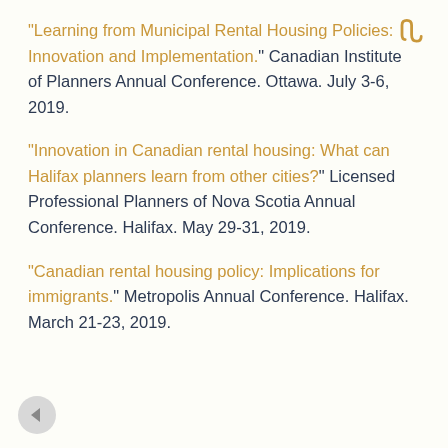“Learning from Municipal Rental Housing Policies: Innovation and Implementation.” Canadian Institute of Planners Annual Conference. Ottawa. July 3-6, 2019.
“Innovation in Canadian rental housing: What can Halifax planners learn from other cities?” Licensed Professional Planners of Nova Scotia Annual Conference. Halifax. May 29-31, 2019.
“Canadian rental housing policy: Implications for immigrants.” Metropolis Annual Conference. Halifax. March 21-23, 2019.